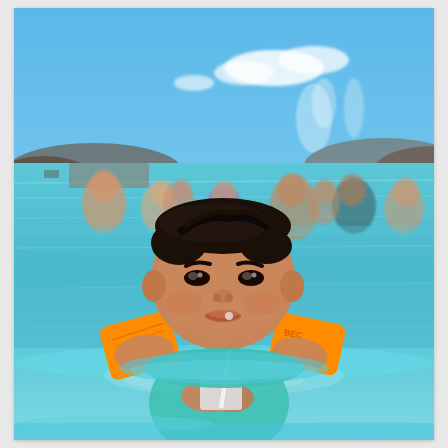[Figure (photo): A young Asian boy wearing orange inflatable arm floaties and a teal swim shirt, drinking from a cup with a straw while floating in the milky blue geothermal waters of Iceland's Blue Lagoon. Many other swimmers are visible in the background, along with volcanic rock hills and a blue sky with steam rising from the water. The boy is smiling at the camera.]